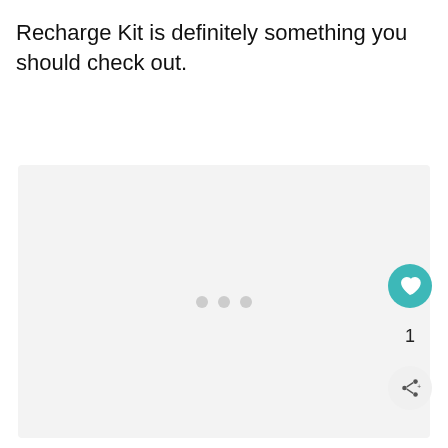Recharge Kit is definitely something you should check out.
[Figure (other): Large light gray placeholder image area with three gray loading dots centered, indicating an embedded media element that is still loading. A circular teal heart/like button, a count of 1, and a share button are overlaid at the bottom right.]